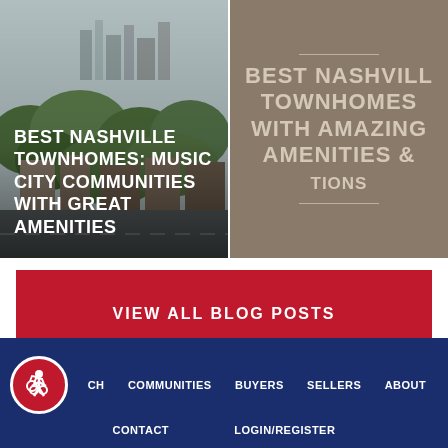[Figure (photo): Aerial/overhead view of Nashville neighborhood with trees and buildings, city skyline in background]
[Figure (infographic): Taupe/brown panel with text: BEST NASHVILLE TOWNHOMES WITH AMAZING AMENITIES & LOCATIONS, with horizontal dividers]
BEST NASHVILLE TOWNHOMES: MUSIC CITY COMMUNITIES WITH GREAT AMENITIES
VIEW ALL BLOG POSTS
CH  COMMUNITIES  BUYERS  SELLERS  ABOUT  CONTACT  LOGIN/REGISTER